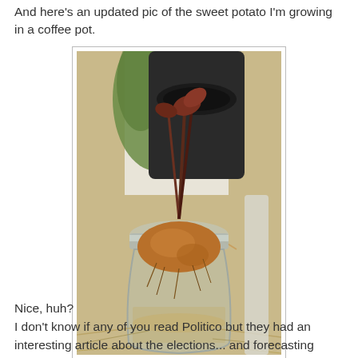And here's an updated pic of the sweet potato I'm growing in a coffee pot.
[Figure (photo): A sweet potato with reddish-purple sprouts growing in a glass coffee pot carafe, supported by toothpicks, placed next to a black coffee maker. Green plant leaves visible in the background. The potato sits in water inside the glass carafe, with fibrous roots hanging below.]
Nice, huh?
I don't know if any of you read Politico but they had an interesting article about the elections... and forecasting